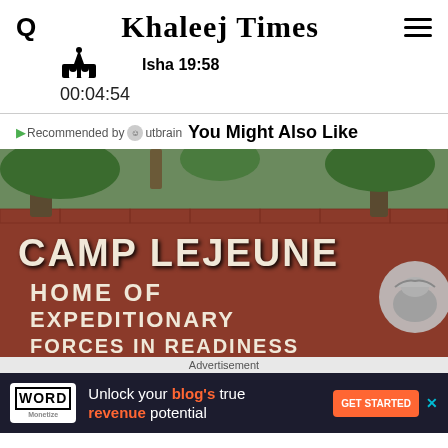Khaleej Times
Isha 19:58
00:04:54
Recommended by Outbrain You Might Also Like
[Figure (photo): Camp Lejeune entrance sign on a brick wall reading 'CAMP LEJEUNE HOME OF EXPEDITIONARY FORCES IN READINESS' with a US Marine Corps emblem, surrounded by trees]
Advertisement
Unlock your blog's true revenue potential GET STARTED